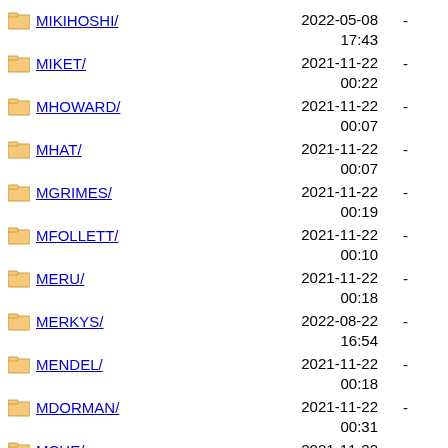MIKIHOSHI/ 2022-05-08 17:43 -
MIKET/ 2021-11-22 00:22 -
MHOWARD/ 2021-11-22 00:07 -
MHAT/ 2021-11-22 00:07 -
MGRIMES/ 2021-11-22 00:19 -
MFOLLETT/ 2021-11-22 00:10 -
MERU/ 2021-11-22 00:18 -
MERKYS/ 2022-08-22 16:54 -
MENDEL/ 2021-11-22 00:18 -
MDORMAN/ 2021-11-22 00:31 -
MCHE/ 2021-11-22 00:08 -